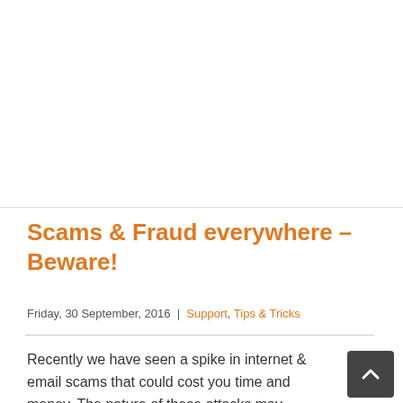Scams & Fraud everywhere – Beware!
Friday, 30 September, 2016  |  Support, Tips & Tricks
Recently we have seen a spike in internet & email scams that could cost you time and money. The nature of these attacks may